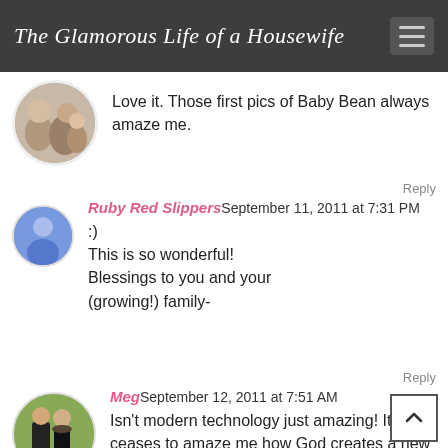The Glamorous Life of a Housewife
Love it. Those first pics of Baby Bean always amaze me.
Reply
Ruby Red Slippers September 11, 2011 at 7:31 PM
:)
This is so wonderful! Blessings to you and your (growing!) family-
Reply
Meg September 12, 2011 at 7:51 AM
Isn't modern technology just amazing! It never ceases to amaze me how God creates a new life! Congratulations!!! You newest little is precious!